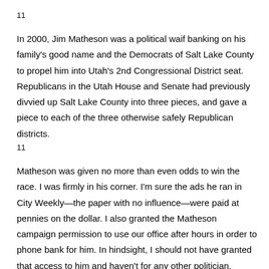11
In 2000, Jim Matheson was a political waif banking on his family's good name and the Democrats of Salt Lake County to propel him into Utah's 2nd Congressional District seat. Republicans in the Utah House and Senate had previously divvied up Salt Lake County into three pieces, and gave a piece to each of the three otherwise safely Republican districts.
11
Matheson was given no more than even odds to win the race. I was firmly in his corner. I'm sure the ads he ran in City Weekly—the paper with no influence—were paid at pennies on the dollar. I also granted the Matheson campaign permission to use our office after hours in order to phone bank for him. In hindsight, I should not have granted that access to him and haven't for any other politician.